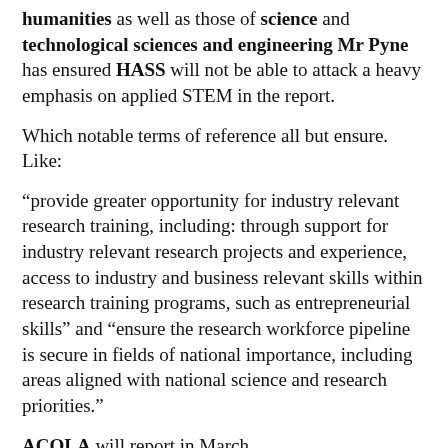humanities as well as those of science and technological sciences and engineering Mr Pyne has ensured HASS will not be able to attack a heavy emphasis on applied STEM in the report.
Which notable terms of reference all but ensure. Like:
“provide greater opportunity for industry relevant research training, including: through support for industry relevant research projects and experience, access to industry and business relevant skills within research training programs, such as entrepreneurial skills” and “ensure the research workforce pipeline is secure in fields of national importance, including areas aligned with national science and research priorities.”
ACOLA will report in March.
The Regional Universities Network was the first of the higher education groups to endorse the